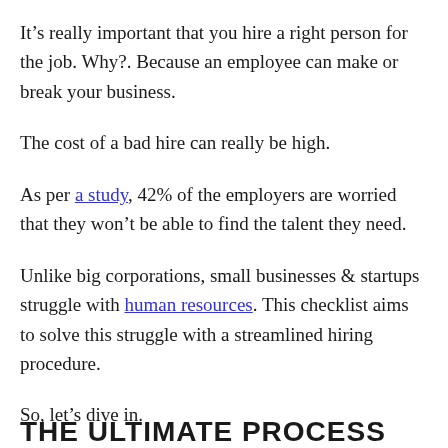It's really important that you hire a right person for the job. Why?. Because an employee can make or break your business.
The cost of a bad hire can really be high.
As per a study, 42% of the employers are worried that they won't be able to find the talent they need.
Unlike big corporations, small businesses & startups struggle with human resources. This checklist aims to solve this struggle with a streamlined hiring procedure.
So, let's dive in.
THE ULTIMATE PROCESS